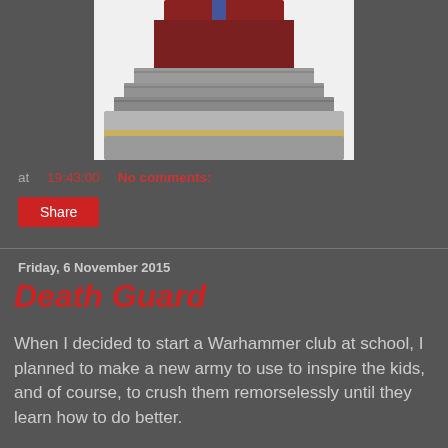[Figure (photo): Close-up photo of a painted Warhammer figurine base — showing stone steps, dark cloak in red and robes, blue staff, and a grey stone pedestal base with sandy/golden trim]
at 19:43:00   No comments:
Share
Friday, 6 November 2015
Death Guard
When I decided to start a Warhammer club at school, I planned to make a new army to use to inspire the kids, and of course, to crush them remorselessly until they learn how to do better.